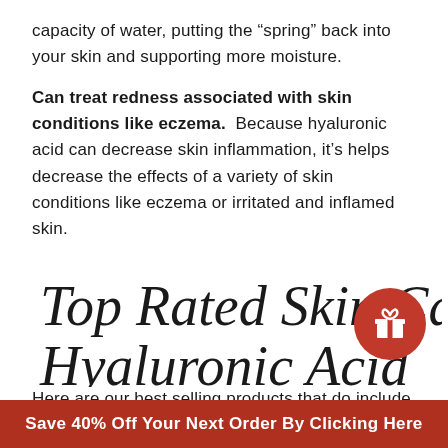capacity of water, putting the “spring” back into your skin and supporting more moisture.
Can treat redness associated with skin conditions like eczema. Because hyaluronic acid can decrease skin inflammation, it’s helps decrease the effects of a variety of skin conditions like eczema or irritated and inflamed skin.
Top Rated Skin Care With Hyaluronic Acid
Here are our best selling products that do include
[Figure (illustration): Red circular gift button icon with a white gift box symbol]
Save 40% Off Your Next Order By Clicking Here